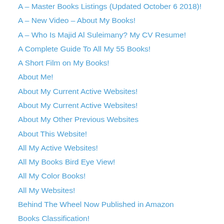A – Master Books Listings (Updated October 6 2018)!
A – New Video – About My Books!
A – Who Is Majid Al Suleimany? My CV Resume!
A Complete Guide To All My 55 Books!
A Short Film on My Books!
About Me!
About My Current Active Websites!
About My Current Active Websites!
About My Other Previous Websites
About This Website!
All My Active Websites!
All My Books Bird Eye View!
All My Color Books!
All My Websites!
Behind The Wheel Now Published in Amazon
Books Classification!
Facebook Books Photos Album!
Free Download on My New Books – 35 to 52!
Full Video on All My Books!
My Books – For Direct Ordering!